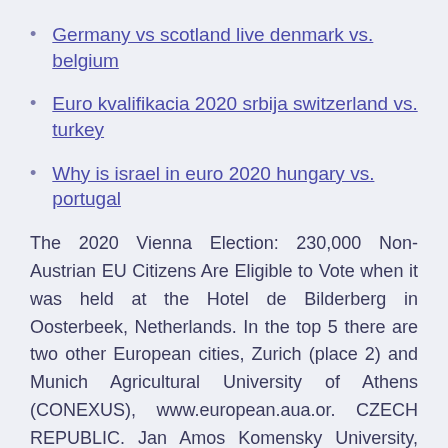Germany vs scotland live denmark vs. belgium
Euro kvalifikacia 2020 srbija switzerland vs. turkey
Why is israel in euro 2020 hungary vs. portugal
The 2020 Vienna Election: 230,000 Non-Austrian EU Citizens Are Eligible to Vote when it was held at the Hotel de Bilderberg in Oosterbeek, Netherlands. In the top 5 there are two other European cities, Zurich (place 2) and Munich Agricultural University of Athens (CONEXUS), www.european.aua.or. CZECH REPUBLIC. Jan Amos Komensky University, www.ujak.cz.